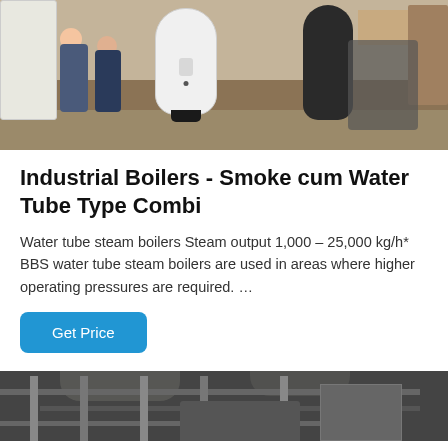[Figure (photo): Warehouse scene with two large cylindrical industrial boilers—one white, one dark—with two workers standing nearby and material handling equipment in background]
Industrial Boilers - Smoke cum Water Tube Type Combi
Water tube steam boilers Steam output 1,000 – 25,000 kg/h* BBS water tube steam boilers are used in areas where higher operating pressures are required. …
[Figure (photo): Interior of an industrial facility showing overhead pipes, ducts, and mechanical equipment in a warehouse or factory setting]